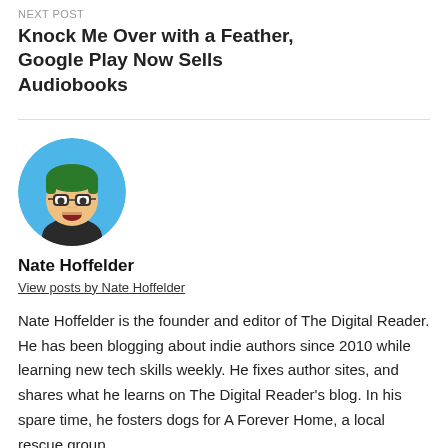NEXT POST
Knock Me Over with a Feather, Google Play Now Sells Audiobooks
[Figure (illustration): Cartoon avatar of Nate Hoffelder: a cartoon man with green hair and glasses, set against a blue circular background]
Nate Hoffelder
View posts by Nate Hoffelder
Nate Hoffelder is the founder and editor of The Digital Reader. He has been blogging about indie authors since 2010 while learning new tech skills weekly. He fixes author sites, and shares what he learns on The Digital Reader's blog. In his spare time, he fosters dogs for A Forever Home, a local rescue group.